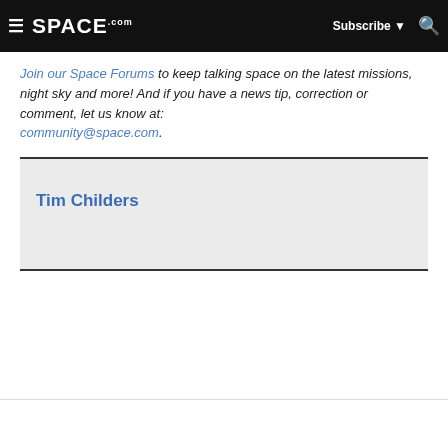SPACE.com | Subscribe | Search
Join our Space Forums to keep talking space on the latest missions, night sky and more! And if you have a news tip, correction or comment, let us know at: community@space.com.
Tim Childers